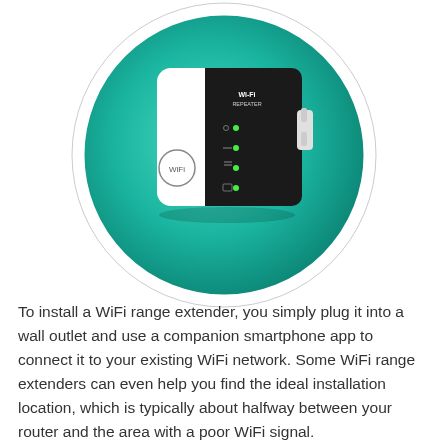[Figure (photo): A white WiFi repeater/range extender device with a black front panel showing green indicator LEDs, a WiFi logo, and plug prongs on the right side. The device is displayed on a circular teal/green gradient background with a white circular border ring.]
To install a WiFi range extender, you simply plug it into a wall outlet and use a companion smartphone app to connect it to your existing WiFi network. Some WiFi range extenders can even help you find the ideal installation location, which is typically about halfway between your router and the area with a poor WiFi signal.